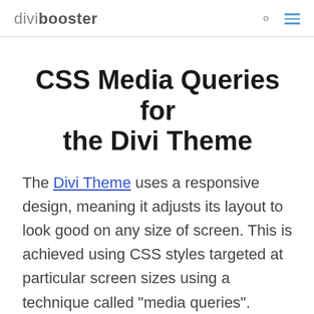divibooster
CSS Media Queries for the Divi Theme
The Divi Theme uses a responsive design, meaning it adjusts its layout to look good on any size of screen. This is achieved using CSS styles targeted at particular screen sizes using a technique called "media queries".